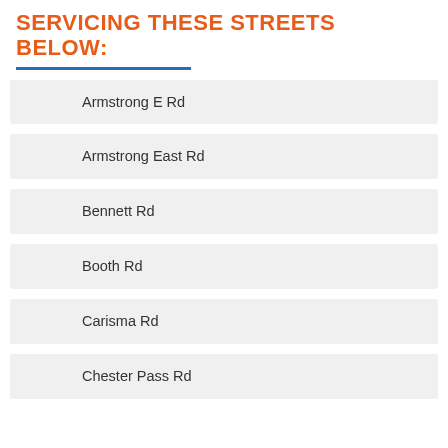SERVICING THESE STREETS BELOW:
Armstrong E Rd
Armstrong East Rd
Bennett Rd
Booth Rd
Carisma Rd
Chester Pass Rd